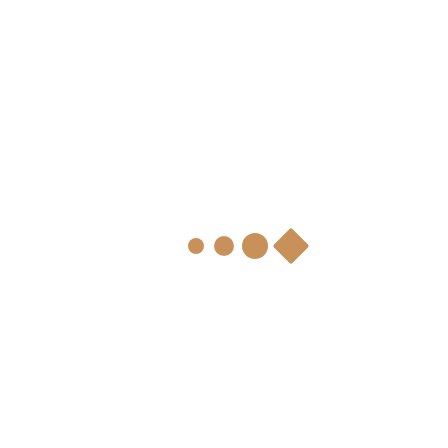[Figure (illustration): Four small shapes in a horizontal row centered slightly below mid-page: three circles of increasing size (small, medium, larger) and one diamond/rotated-square shape, all in a warm tan/brown color.]